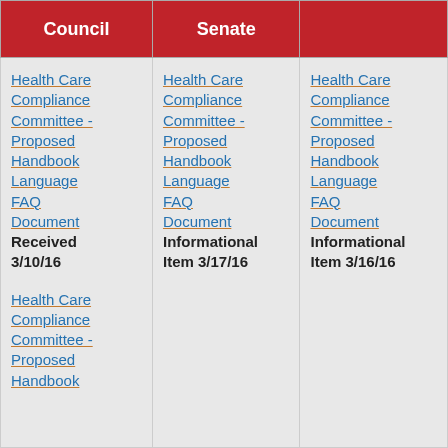| Council | Senate |  |
| --- | --- | --- |
| Health Care Compliance Committee - Proposed Handbook Language FAQ Document Received 3/10/16

Health Care Compliance Committee - Proposed Handbook | Health Care Compliance Committee - Proposed Handbook Language FAQ Document Informational Item 3/17/16 | Health Care Compliance Committee - Proposed Handbook Language FAQ Document Informational Item 3/16/16 |